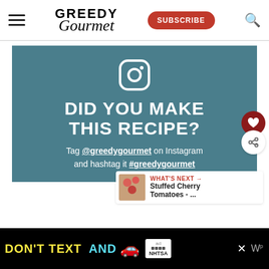Greedy Gourmet — SUBSCRIBE
[Figure (infographic): Instagram promotional banner with text 'DID YOU MAKE THIS RECIPE?' Tag @greedygourmet on Instagram and hashtag it #greedygourmet. Teal background with white Instagram icon.]
WHAT'S NEXT → Stuffed Cherry Tomatoes - ...
[Figure (infographic): Ad banner: DON'T TEXT AND [car emoji] with NHTSA branding on black background]